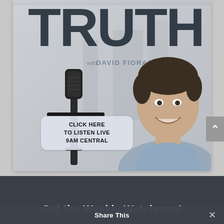[Figure (photo): Radio show promotional image for 'For The Truth with David Fiorazo'. Large bold text 'TRUTH' at top, subtitle 'with DAVID FIORAZO', microphone in foreground, man smiling in background. Overlay button reads 'CLICK HERE TO LISTEN LIVE 9AM CENTRAL'.]
CLICK HERE TO LISTEN LIVE 9AM CENTRAL
Get the Weekly Watchman!
Share This